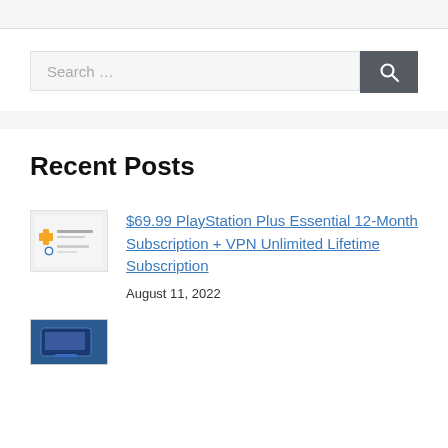[Figure (screenshot): Search bar with placeholder text 'Search ...' and a dark grey search button with magnifying glass icon]
Recent Posts
[Figure (screenshot): Thumbnail image showing PlayStation Plus and VPN Unlimited logos]
$69.99 PlayStation Plus Essential 12-Month Subscription + VPN Unlimited Lifetime Subscription
August 11, 2022
[Figure (screenshot): Thumbnail image (dark blue/laptop related)]